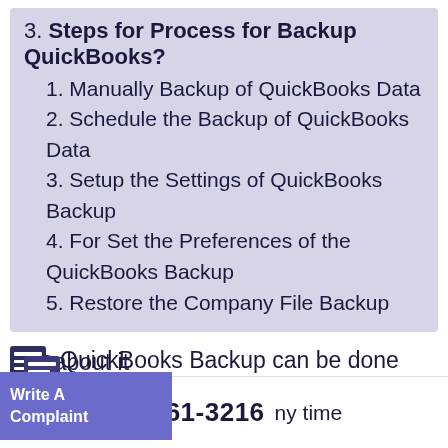3. Steps for Process for Backup QuickBooks?
1. Manually Backup of QuickBooks Data
2. Schedule the Backup of QuickBooks Data
3. Setup the Settings of QuickBooks Backup
4. For Set the Preferences of the QuickBooks Backup
5. Restore the Company File Backup
The QuickBooks Backup can be done anytime essential to do after your work with the company file. In case, if you face any data loss, file damaged, update, and installation failure. Then you must have the backup file with .qbb any time are about it
+1516-461-3216